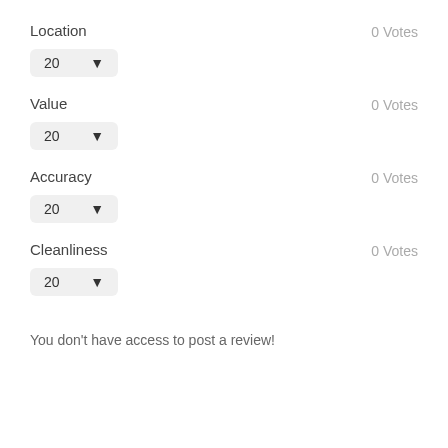Location
0 Votes
[Figure (other): Dropdown selector showing value 20 with down arrow]
Value
0 Votes
[Figure (other): Dropdown selector showing value 20 with down arrow]
Accuracy
0 Votes
[Figure (other): Dropdown selector showing value 20 with down arrow]
Cleanliness
0 Votes
[Figure (other): Dropdown selector showing value 20 with down arrow]
You don't have access to post a review!